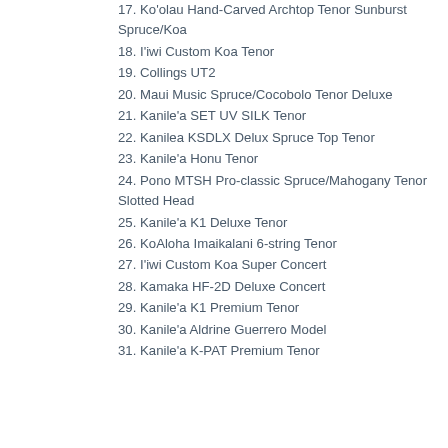17. Ko'olau Hand-Carved Archtop Tenor Sunburst Spruce/Koa
18. I'iwi Custom Koa Tenor
19. Collings UT2
20. Maui Music Spruce/Cocobolo Tenor Deluxe
21. Kanile'a SET UV SILK Tenor
22. Kanilea KSDLX Delux Spruce Top Tenor
23. Kanile'a Honu Tenor
24. Pono MTSH Pro-classic Spruce/Mahogany Tenor Slotted Head
25. Kanile'a K1 Deluxe Tenor
26. KoAloha Imaikalani 6-string Tenor
27. I'iwi Custom Koa Super Concert
28. Kamaka HF-2D Deluxe Concert
29. Kanile'a K1 Premium Tenor
30. Kanile'a Aldrine Guerrero Model
31. Kanile'a K-PAT Premium Tenor